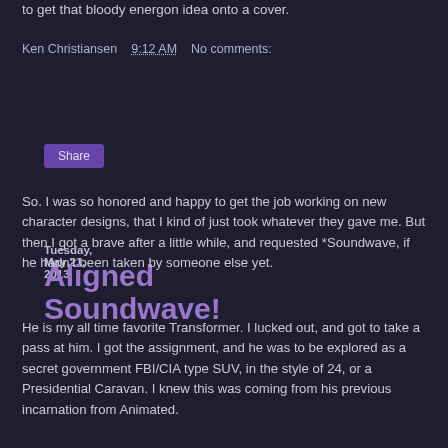to get that bloody energon idea onto a cover.
Ken Christiansen   9:12 AM   No comments:
Share
Tuesday, May 21, 2013
Aligned Soundwave!
So. I was so honored and happy to get the job working on new character designs, that I kind of just took whatever they gave me.  But then I got a brave after a little while, and requested *Soundwave, if he hadn't been taken by someone else yet.
He is my all time favorite Transformer.  I lucked out, and got to take a pass at him.  I got the assignment, and he was to be explored as a secret government FBI/CIA type SUV, in the style of 24, or a Presidential Caravan.  I knew this was coming from his previous incarnation from Animated.